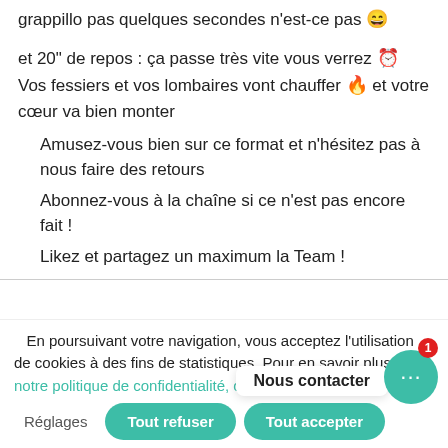grappillo pas quelques secondes n'est-ce pas 😄
et 20" de repos : ça passe très vite vous verrez ⏰
Vos fessiers et vos lombaires vont chauffer 🔥 et votre cœur va bien monter
Amusez-vous bien sur ce format et n'hésitez pas à nous faire des retours
Abonnez-vous à la chaîne si ce n'est pas encore fait !
Likez et partagez un maximum la Team !
En poursuivant votre navigation, vous acceptez l'utilisation de cookies à des fins de statistiques. Pour en savoir plus sur notre politique de confidentialité, cliquez
Nous contacter
Réglages
Tout refuser
Tout accepter